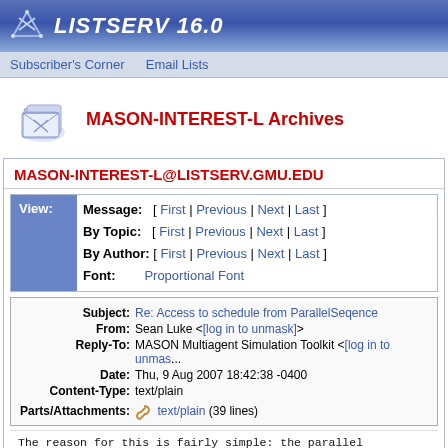LISTSERV 16.0
Subscriber's Corner   Email Lists
MASON-INTEREST-L Archives
MASON-INTEREST-L@LISTSERV.GMU.EDU
| View: | Message:   [ First | Previous | Next | Last ] |
|  | By Topic:   [ First | Previous | Next | Last ] |
|  | By Author: [ First | Previous | Next | Last ] |
|  | Font:         Proportional Font |
| Subject: | Re: Access to schedule from ParallelSeqence |
| From: | Sean Luke <[log in to unmask]> |
| Reply-To: | MASON Multiagent Simulation Toolkit <[log in to unmas...]> |
| Date: | Thu, 9 Aug 2007 18:42:38 -0400 |
| Content-Type: | text/plain |
| Parts/Attachments: | text/plain (39 lines) |
The reason for this is fairly simple: the parallel sequence's step